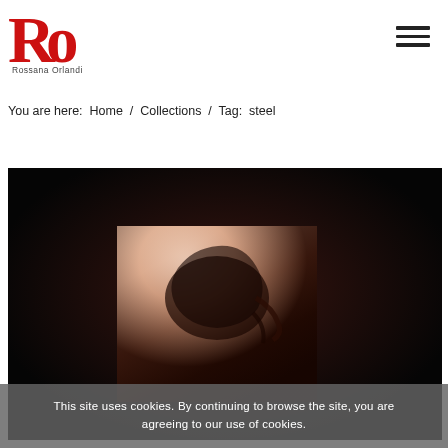Rossana Orlandi — logo and navigation
You are here:  Home  /  Collections  /  Tag: steel
[Figure (photo): Dark-background gallery image showing a partial portrait with warm-toned background lighting and dark hair, centered in the frame]
This site uses cookies. By continuing to browse the site, you are agreeing to our use of cookies.